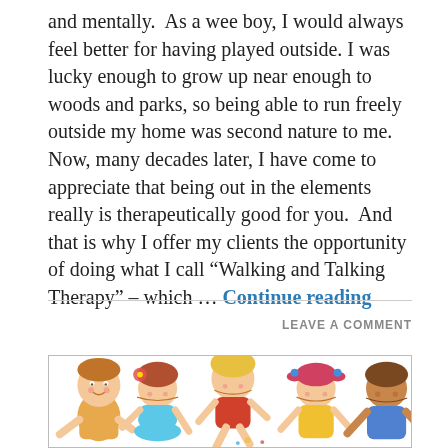and mentally.  As a wee boy, I would always feel better for having played outside. I was lucky enough to grow up near enough to woods and parks, so being able to run freely outside my home was second nature to me. Now, many decades later, I have come to appreciate that being out in the elements really is therapeutically good for you.  And that is why I offer my clients the opportunity of doing what I call “Walking and Talking Therapy” – which … Continue reading
LEAVE A COMMENT
[Figure (illustration): Cartoon illustration of five happy children jumping and playing together, with colorful clothing and cheerful expressions.]